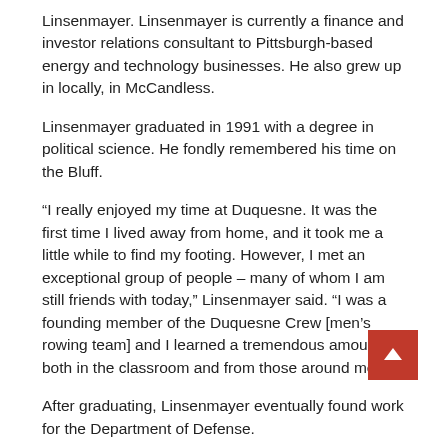Linsenmayer. Linsenmayer is currently a finance and investor relations consultant to Pittsburgh-based energy and technology businesses. He also grew up in locally, in McCandless.
Linsenmayer graduated in 1991 with a degree in political science. He fondly remembered his time on the Bluff.
“I really enjoyed my time at Duquesne. It was the first time I lived away from home, and it took me a little while to find my footing. However, I met an exceptional group of people – many of whom I am still friends with today,” Linsenmayer said. “I was a founding member of the Duquesne Crew [men’s rowing team] and I learned a tremendous amount, both in the classroom and from those around me.”
After graduating, Linsenmayer eventually found work for the Department of Defense.
“Working at the Pentagon was a great experience. I was able to help the government cut its costs and build energy security